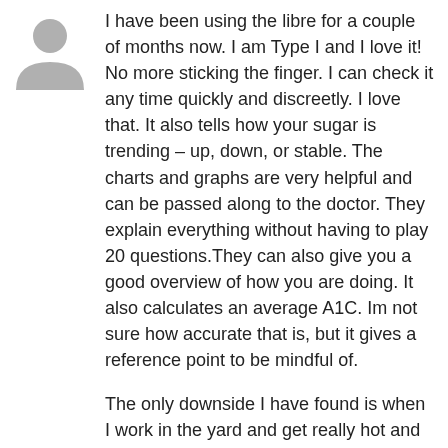[Figure (illustration): Gray silhouette avatar icon of a person, upper body, used as a user profile picture placeholder]
I have been using the libre for a couple of months now. I am Type I and I love it! No more sticking the finger. I can check it any time quickly and discreetly. I love that. It also tells how your sugar is trending – up, down, or stable. The charts and graphs are very helpful and can be passed along to the doctor. They explain everything without having to play 20 questions.They can also give you a good overview of how you are doing. It also calculates an average A1C. Im not sure how accurate that is, but it gives a reference point to be mindful of.
The only downside I have found is when I work in the yard and get really hot and sweaty, it tends to come off. The folks at